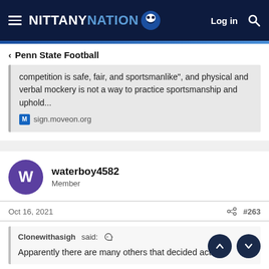NITTANY NATION — Log in
‹ Penn State Football
competition is safe, fair, and sportsmanlike", and physical and verbal mockery is not a way to practice sportsmanship and uphold...
sign.moveon.org
waterboy4582
Member
Oct 16, 2021
#263
Clonewithasigh said:
Apparently there are many others that decided action